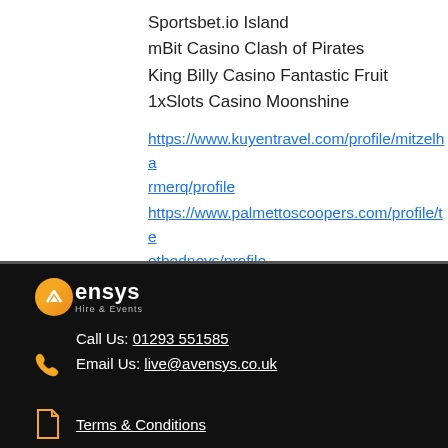Sportsbet.io Island
mBit Casino Clash of Pirates
King Billy Casino Fantastic Fruit
1xSlots Casino Moonshine
https://www.kuyentravel.com/profile/mitzelharmerq/profile
https://www.palmettoscoopers.com/profile/teetbedneys/profile
https://www.marlene-sernesi.com/profile/pentekgrad6/profile
https://www.inline-nutrition.com/profile/simonibrekkem/profile
[Figure (logo): Avensys Hire & Events logo with orange circle icon and white text on black background]
Call Us: 01293 551585
Email Us: live@avensys.co.uk
Terms & Conditions